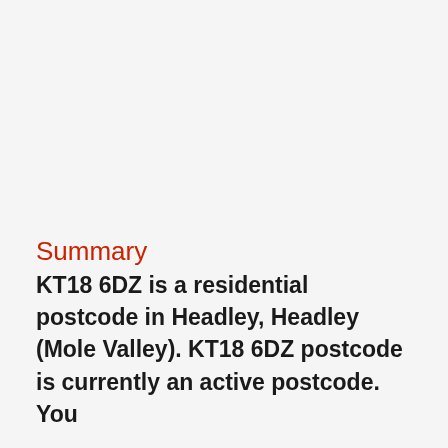Summary
KT18 6DZ is a residential postcode in Headley, Headley (Mole Valley). KT18 6DZ postcode is currently an active postcode. You